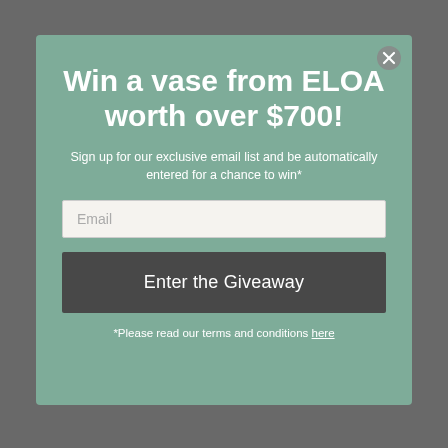[Figure (screenshot): Website background with navigation header (hamburger menu icon, logo text 'Coach', search icon) partially visible behind a modal overlay]
Win a vase from ELOA worth over $700!
Sign up for our exclusive email list and be automatically entered for a chance to win*
Email
Enter the Giveaway
*Please read our terms and conditions here